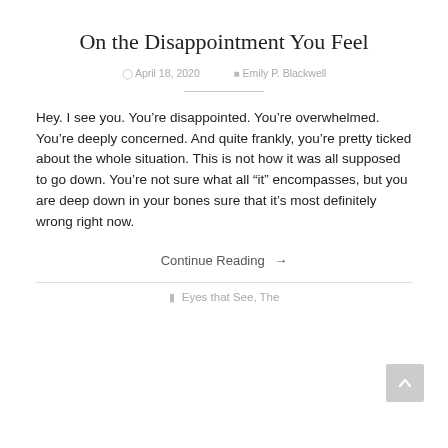On the Disappointment You Feel
April 18, 2020   Emily P. Blackwell
Hey. I see you. You’re disappointed. You’re overwhelmed. You’re deeply concerned. And quite frankly, you’re pretty ticked about the whole situation. This is not how it was all supposed to go down. You’re not sure what all “it” encompasses, but you are deep down in your bones sure that it’s most definitely wrong right now.
Continue Reading →
Eyes that See, The